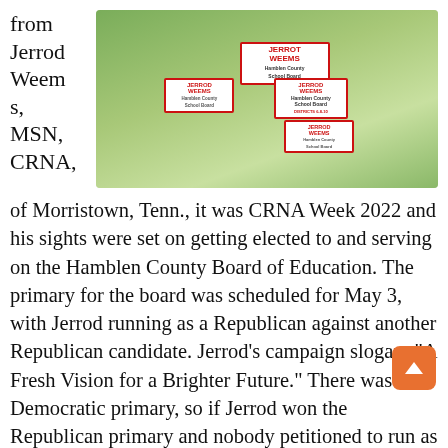from Jerrod Weems, MSN, CRNA,
[Figure (photo): Group photo of people holding Jerrod Weems Hamblen County School Board campaign signs outdoors on grass]
of Morristown, Tenn., it was CRNA Week 2022 and his sights were set on getting elected to and serving on the Hamblen County Board of Education. The primary for the board was scheduled for May 3, with Jerrod running as a Republican against another Republican candidate. Jerrod’s campaign slogan: “A Fresh Vision for a Brighter Future.” There was no Democratic primary, so if Jerrod won the Republican primary and nobody petitioned to run as a Democrat in the August election, Jerrod would be seated on the board of education.
Mission accomplished!